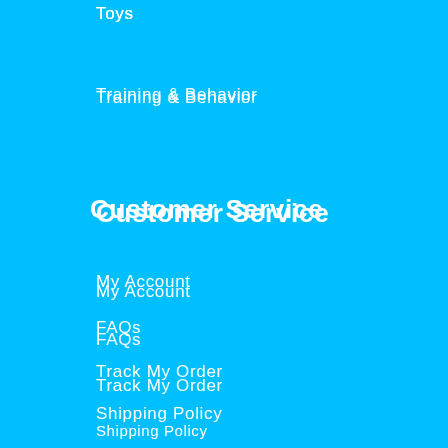Toys
Training & Behavior
Customer Service
My Account
FAQs
Track My Order
Shipping Policy
Returns & Exchanges
Contact Us